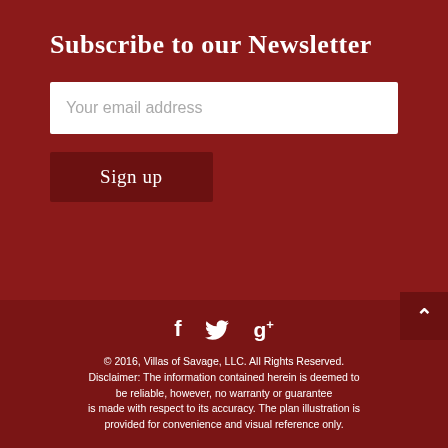Subscribe to our Newsletter
Your email address
Sign up
[Figure (other): Social media icons: Facebook (f), Twitter (bird), Google+ (g+)]
© 2016, Villas of Savage, LLC. All Rights Reserved. Disclaimer: The information contained herein is deemed to be reliable, however, no warranty or guarantee is made with respect to its accuracy. The plan illustration is provided for convenience and visual reference only.